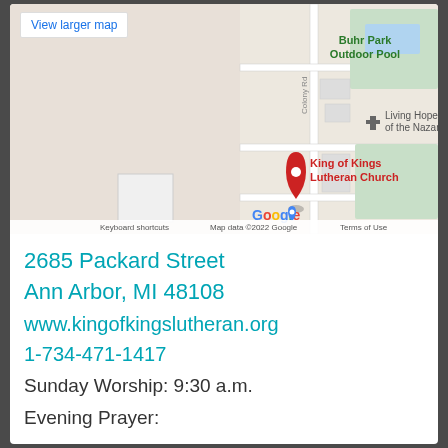[Figure (map): Google Maps screenshot showing King of Kings Lutheran Church at 2685 Packard Street, Ann Arbor, MI. Red pin marks the church location. Nearby landmarks include Buhr Park Outdoor Pool and Living Hope of the Nazarene. Colony Rd visible. Google logo and map attribution shown.]
View larger map
Keyboard shortcuts   Map data ©2022 Google   Terms of Use
2685 Packard Street
Ann Arbor, MI 48108
www.kingofkingslutheran.org
1-734-471-1417
Sunday Worship: 9:30 a.m.
Evening Prayer:
Wednesdays 6:30 pm